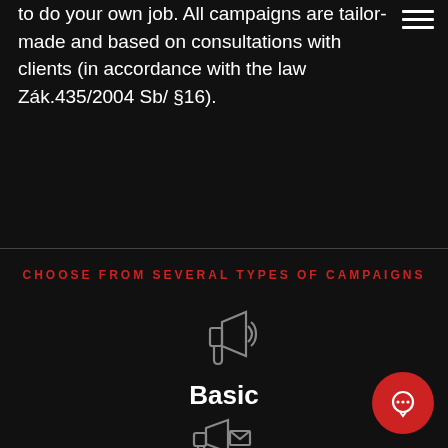to do your own job. All campaigns are tailor-made and based on consultations with clients (in accordance with the law Zák.435/2004 Sb/ §16).
QUESTIONS
CHOOSE FROM SEVERAL TYPES OF CAMPAIGNS
[Figure (illustration): Megaphone / bullhorn outline icon in grey]
Basic
[Figure (illustration): Megaphone with envelope outline icon in grey]